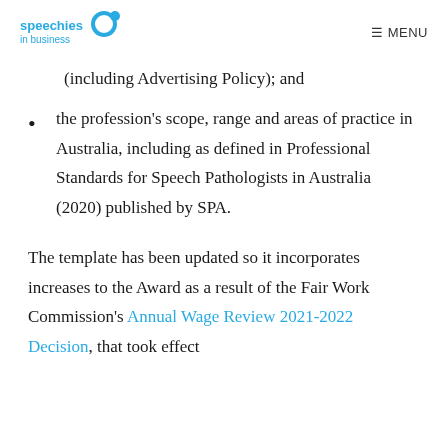speechies in business  ≡ MENU
(including Advertising Policy); and
the profession's scope, range and areas of practice in Australia, including as defined in Professional Standards for Speech Pathologists in Australia (2020) published by SPA.
The template has been updated so it incorporates increases to the Award as a result of the Fair Work Commission's Annual Wage Review 2021-2022 Decision, that took effect